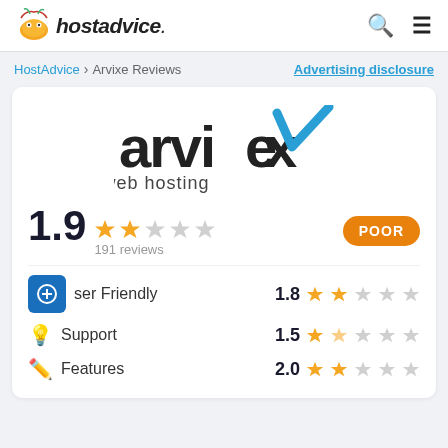hostadvice.
HostAdvice > Arvixe Reviews   Advertising disclosure
[Figure (logo): Arvixe web hosting logo with blue checkmark]
1.9  191 reviews  POOR
User Friendly  1.8
Support  1.5
Features  2.0